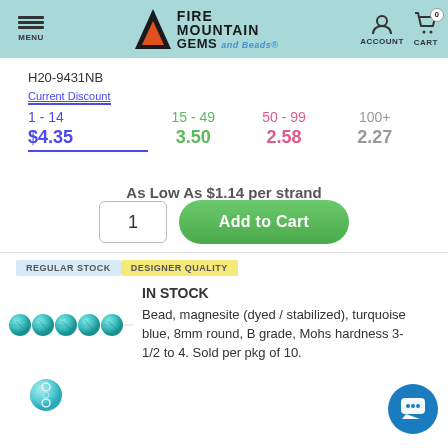MENU | FIRE MOUNTAIN GEMS and Beads | ACCOUNT | CART 0
H20-9431NB
| 1 - 14 | 15 - 49 | 50 - 99 | 100+ |
| --- | --- | --- | --- |
| $4.35 | 3.50 | 2.58 | 2.27 |
As Low As $1.14 per strand
REGULAR STOCK   DESIGNER QUALITY
IN STOCK
[Figure (photo): Turquoise blue magnesite round beads on a strand, 8mm, with dark veining pattern]
Bead, magnesite (dyed / stabilized), turquoise blue, 8mm round, B grade, Mohs hardness 3-1/2 to 4. Sold per pkg of 10.